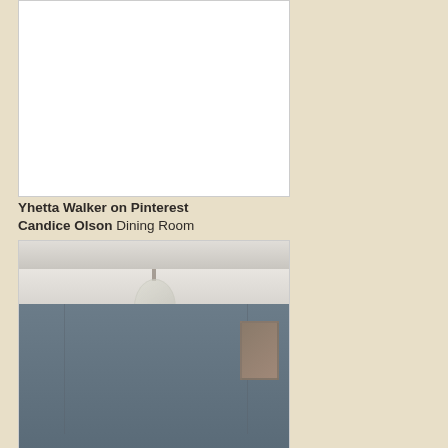[Figure (photo): White/blank rectangular image area at top left]
Yhetta Walker on Pinterest Candice Olson Dining Room
[Figure (photo): Interior photo of a dining room with gray-blue wainscoting wall panels, white crown molding on the ceiling, and a glass pendant chandelier hanging from the ceiling. Decorative artwork visible on the right wall.]